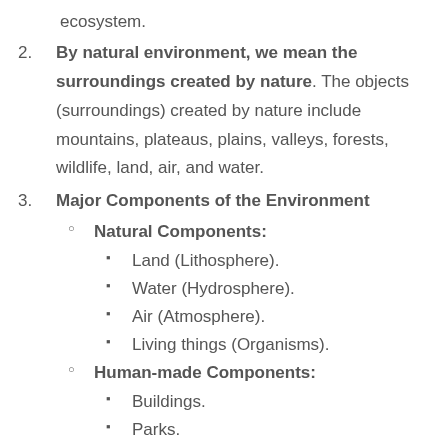ecosystem.
2. By natural environment, we mean the surroundings created by nature. The objects (surroundings) created by nature include mountains, plateaus, plains, valleys, forests, wildlife, land, air, and water.
3. Major Components of the Environment
Natural Components:
Land (Lithosphere).
Water (Hydrosphere).
Air (Atmosphere).
Living things (Organisms).
Human-made Components:
Buildings.
Parks.
Bridges (cut off)